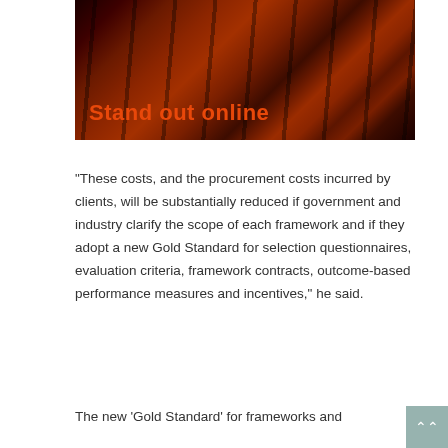[Figure (photo): Dark reddish-orange image of book spines on a shelf, with overlaid text 'Stand out online' in orange]
“These costs, and the procurement costs incurred by clients, will be substantially reduced if government and industry clarify the scope of each framework and if they adopt a new Gold Standard for selection questionnaires, evaluation criteria, framework contracts, outcome-based performance measures and incentives,” he said.
The new ‘Gold Standard’ for frameworks and